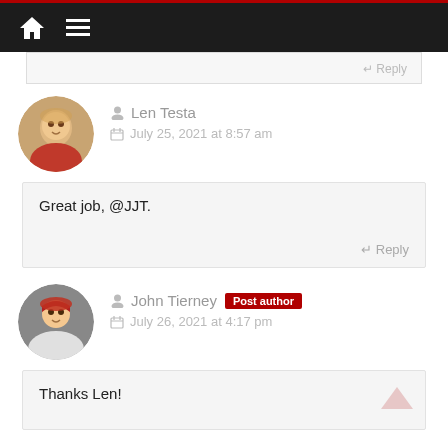Navigation bar with home and menu icons
↵ Reply
Len Testa
July 25, 2021 at 8:57 am
Great job, @JJT.
Reply
John Tierney  Post author
July 26, 2021 at 4:17 pm
Thanks Len!